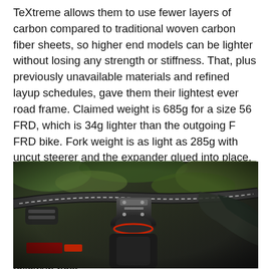TeXtreme allows them to use fewer layers of carbon compared to traditional woven carbon fiber sheets, so higher end models can be lighter without losing any strength or stiffness. That, plus previously unavailable materials and refined layup schedules, gave them their lightest ever road frame. Claimed weight is 685g for a size 56 FRD, which is 34g lighter than the outgoing F FRD bike. Fork weight is as light as 285g with uncut steerer and the expander glued into place. From the FRD's premium carbon (TeXtreme + UHC Ultimate) to the next level down (TeXtreme + UHC Advanced), the frame gains about 80 grams (for size 56, claimed weight is 765g). The disc frame adds about 100g, and that fork will be a little heavier, too. More on the weights in a followup post.
[Figure (photo): Close-up photo of a bicycle cockpit showing handlebars, stem, headset, and components against a green leafy background.]